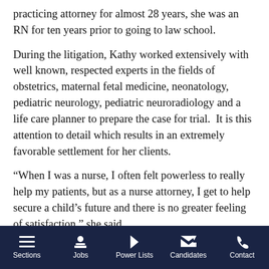practicing attorney for almost 28 years, she was an RN for ten years prior to going to law school.
During the litigation, Kathy worked extensively with well known, respected experts in the fields of obstetrics, maternal fetal medicine, neonatology, pediatric neurology, pediatric neuroradiology and a life care planner to prepare the case for trial.  It is this attention to detail which results in an extremely favorable settlement for her clients.
“When I was a nurse, I often felt powerless to really help my patients, but as a nurse attorney, I get to help secure a child’s future and there is no greater feeling of satisfaction,” she said.
Sections   Jobs   Power Lists   Candidates   Contact